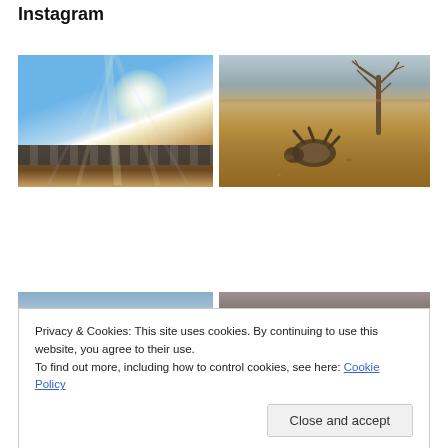Instagram
[Figure (photo): Bright sun with lens flare over a blue sky with wispy clouds, railroad or industrial structure along the bottom of the frame, brown earth in foreground]
[Figure (photo): Brown autumn field with a dog rolling on its back, bare tree visible in background against grey-blue sky]
[Figure (photo): Partial view: blue sky over a flat landscape, appears to be cut off by cookie notice]
[Figure (photo): Partial view: brownish-grey textured surface, appears to be cut off by cookie notice]
Privacy & Cookies: This site uses cookies. By continuing to use this website, you agree to their use.
To find out more, including how to control cookies, see here: Cookie Policy
Close and accept